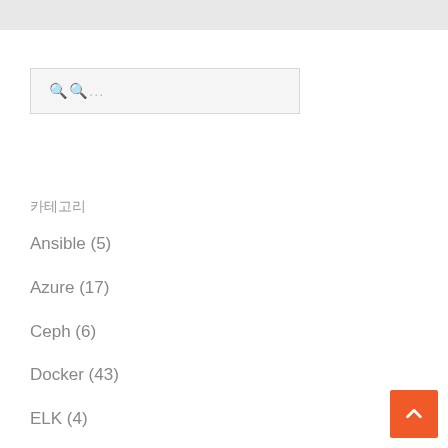[Figure (other): Gray top navigation bar]
[Figure (other): Search input box with placeholder text showing broken character symbols and ellipsis]
카테고리
Ansible (5)
Azure (17)
Ceph (6)
Docker (43)
ELK (4)
Kubernetes (8)
[Figure (other): Orange back-to-top button with upward chevron arrow]